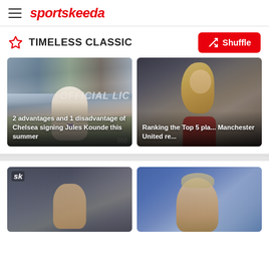sportskeeda
TIMELESS CLASSIC
[Figure (photo): Soccer player Jules Kounde in white kit number 25 running on pitch with crowd in background, watermark text OFFICIAL LIC visible]
2 advantages and 1 disadvantage of Chelsea signing Jules Kounde this summer
[Figure (photo): Long-haired blond footballer (reminiscent of Manchester United player) in dark red jersey looking downward]
Ranking the Top 5 pla... Manchester United re...
[Figure (photo): Footballer partially visible with crowd in background, sk logo watermark top left]
[Figure (photo): Older man (manager/coach) against blue background, partially cropped]